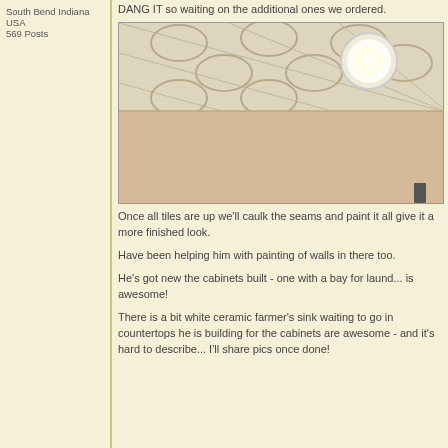South Bend Indiana
USA
569 Posts
DANG IT so waiting on the additional ones we ordered.
[Figure (photo): Interior room photo showing a decorative patterned ceiling with a circular flush-mount light fixture and plain painted walls]
Once all tiles are up we'll caulk the seams and paint it all give it a more finished look.
Have been helping him with painting of walls in there too.
He's got new the cabinets built - one with a bay for laund... is awesome!
There is a bit white ceramic farmer's sink waiting to go in countertops he is building for the cabinets are awesome - and it's hard to describe... I'll share pics once done!